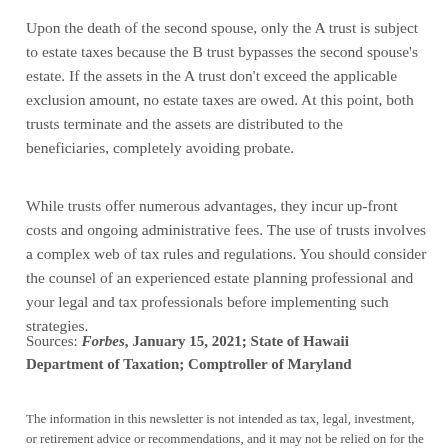Upon the death of the second spouse, only the A trust is subject to estate taxes because the B trust bypasses the second spouse's estate. If the assets in the A trust don't exceed the applicable exclusion amount, no estate taxes are owed. At this point, both trusts terminate and the assets are distributed to the beneficiaries, completely avoiding probate.
While trusts offer numerous advantages, they incur up-front costs and ongoing administrative fees. The use of trusts involves a complex web of tax rules and regulations. You should consider the counsel of an experienced estate planning professional and your legal and tax professionals before implementing such strategies.
Sources: Forbes, January 15, 2021; State of Hawaii Department of Taxation; Comptroller of Maryland
The information in this newsletter is not intended as tax, legal, investment, or retirement advice or recommendations, and it may not be relied on for the purpose of avoiding any federal tax penalties. You are encouraged to